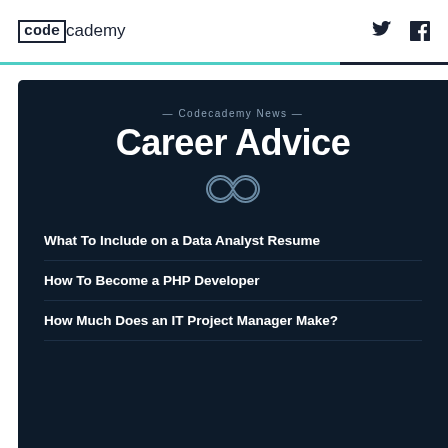codecademy
— Codecademy News —
Career Advice
[Figure (illustration): Infinity symbol icon in outline style, light color on dark background]
What To Include on a Data Analyst Resume
How To Become a PHP Developer
How Much Does an IT Project Manager Make?